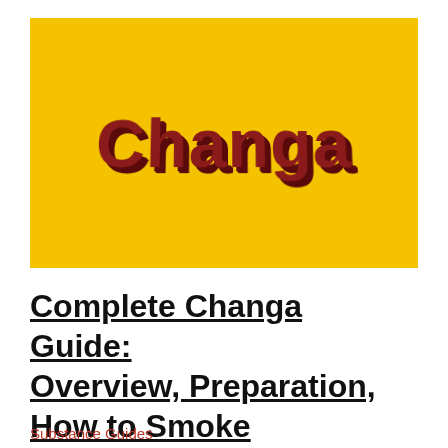[Figure (illustration): Yellow rectangular background with bold stylized 'Changa' text in dark red/maroon with a 3D shadow effect]
Complete Changa Guide: Overview, Preparation, How to Smoke
Substance Guides